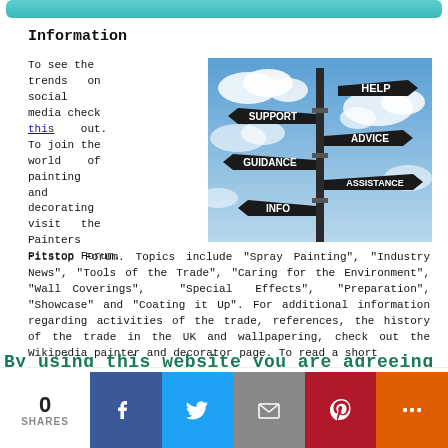Information
To see the trends on social media check this out. To join the world of painting and decorating visit the Painters Pitstop Forum. Topics include "Spray Painting", "Industry News", "Tools of the Trade", "Caring for the Environment", "Wall Coverings", "Special Effects", "Preparation", "Showcase" and "Coating it Up". For additional information regarding activities of the trade, references, the history of the trade in the UK and wallpapering, check out the Wikipedia painter and decorator page. To read a short
[Figure (photo): Signpost with directional arrows labeled: HELP, SUPPORT, ADVICE, GUIDANCE, ASSISTANCE, INFO against a blue sky with clouds]
By using this website you are agreeing
0 SHARES [Facebook] [Twitter] [Email] [Pinterest] [More]